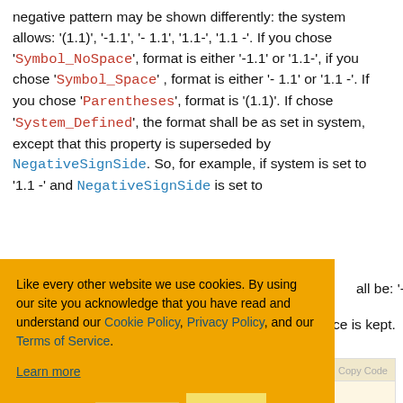negative pattern may be shown differently: the system allows: '(1.1)', '-1.1', '- 1.1', '1.1-', '1.1 -'. If you chose 'Symbol_NoSpace', format is either '-1.1' or '1.1-', if you chose 'Symbol_Space' , format is either '- 1.1' or '1.1 -'. If you chose 'Parentheses', format is '(1.1)'. If chose 'System_Defined', the format shall be as set in system, except that this property is superseded by NegativeSignSide. So, for example, if system is set to '1.1 -' and NegativeSignSide is set to [obscured] all be: '- 1.1'. [obscured] ce is kept.
[Figure (screenshot): Cookie consent banner overlay with orange background. Contains text: 'Like every other website we use cookies. By using our site you acknowledge that you have read and understand our Cookie Policy, Privacy Policy, and our Terms of Service. Learn more'. Three buttons: 'Ask me later', 'Decline', 'Allow cookies'.]
get; set; }
t set). This property allows you to set negative numbers in a